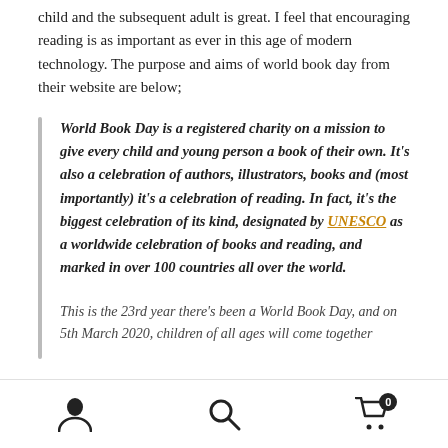child and the subsequent adult is great. I feel that encouraging reading is as important as ever in this age of modern technology. The purpose and aims of world book day from their website are below;
World Book Day is a registered charity on a mission to give every child and young person a book of their own. It's also a celebration of authors, illustrators, books and (most importantly) it's a celebration of reading. In fact, it's the biggest celebration of its kind, designated by UNESCO as a worldwide celebration of books and reading, and marked in over 100 countries all over the world.
This is the 23rd year there's been a World Book Day, and on 5th March 2020, children of all ages will come together
Navigation bar with user, search, and cart icons